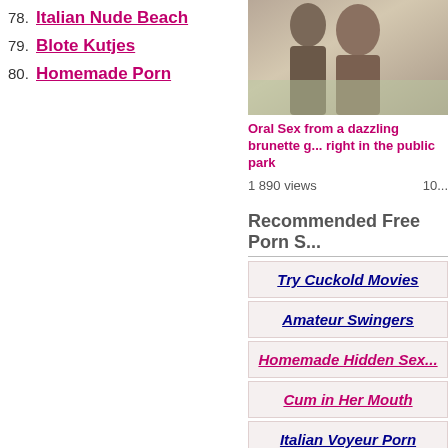78. Italian Nude Beach
79. Blote Kutjes
80. Homemade Porn
[Figure (photo): Thumbnail of a brunette woman outdoors]
Oral Sex from a dazzling brunette g... right in the public park
1 890 views   10...
Recommended Free Porn S...
Try Cuckold Movies
Amateur Swingers
Homemade Hidden Sex...
Cum in Her Mouth
Italian Voyeur Porn
French Nudists Beach...
Suzy Porn